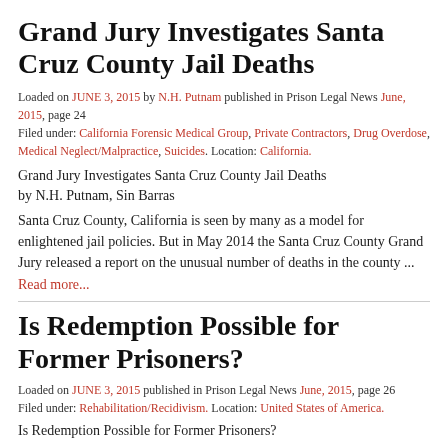Grand Jury Investigates Santa Cruz County Jail Deaths
Loaded on JUNE 3, 2015 by N.H. Putnam published in Prison Legal News June, 2015, page 24
Filed under: California Forensic Medical Group, Private Contractors, Drug Overdose, Medical Neglect/Malpractice, Suicides. Location: California.
Grand Jury Investigates Santa Cruz County Jail Deaths
by N.H. Putnam, Sin Barras
Santa Cruz County, California is seen by many as a model for enlightened jail policies. But in May 2014 the Santa Cruz County Grand Jury released a report on the unusual number of deaths in the county ...
Read more...
Is Redemption Possible for Former Prisoners?
Loaded on JUNE 3, 2015 published in Prison Legal News June, 2015, page 26
Filed under: Rehabilitation/Recidivism. Location: United States of America.
Is Redemption Possible for Former Prisoners?